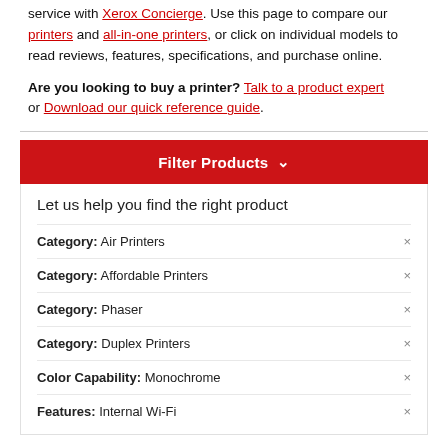service with Xerox Concierge. Use this page to compare our printers and all-in-one printers, or click on individual models to read reviews, features, specifications, and purchase online.
Are you looking to buy a printer? Talk to a product expert or Download our quick reference guide.
Filter Products
Let us help you find the right product
Category: Air Printers
Category: Affordable Printers
Category: Phaser
Category: Duplex Printers
Color Capability: Monochrome
Features: Internal Wi-Fi